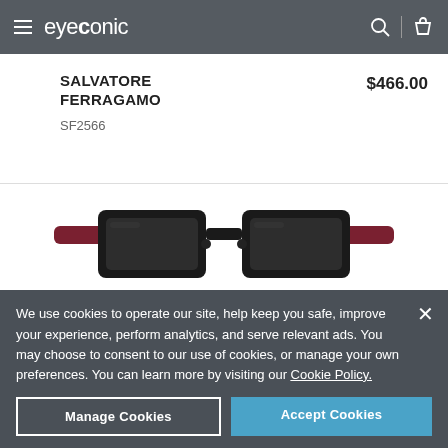eyeconic
SALVATORE FERRAGAMO
SF2566
$466.00
[Figure (photo): Front view of Salvatore Ferragamo SF2566 eyeglasses with dark black frames and dark red/burgundy temple arms]
We use cookies to operate our site, help keep you safe, improve your experience, perform analytics, and serve relevant ads. You may choose to consent to our use of cookies, or manage your own preferences. You can learn more by visiting our Cookie Policy.
Manage Cookies
Accept Cookies